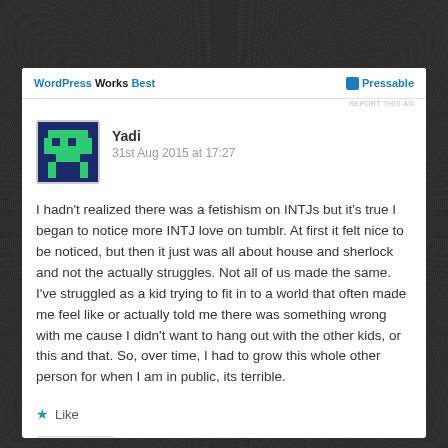WordPress Works Best | Pressable | REPORT THIS AD
[Figure (illustration): Pixel art avatar in dark blue and green colors showing a stylized character, used as user profile image for 'Yadi']
Yadi
31st Aug 2015 at 17:27
I hadn't realized there was a fetishism on INTJs but it's true I began to notice more INTJ love on tumblr. At first it felt nice to be noticed, but then it just was all about house and sherlock and not the actually struggles. Not all of us made the same. I've struggled as a kid trying to fit in to a world that often made me feel like or actually told me there was something wrong with me cause I didn't want to hang out with the other kids, or this and that. So, over time, I had to grow this whole other person for when I am in public, its terrible.
★ Like
REPLY